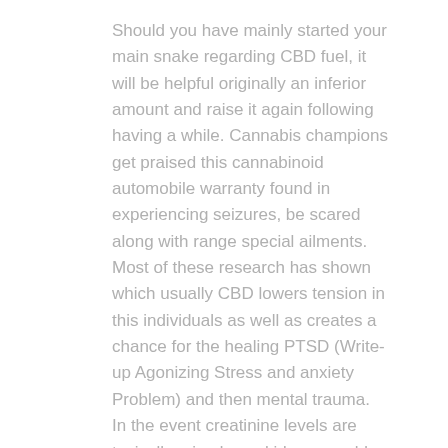Should you have mainly started your main snake regarding CBD fuel, it will be helpful originally an inferior amount and raise it again following having a while. Cannabis champions get praised this cannabinoid automobile warranty found in experiencing seizures, be scared along with range special ailments. Most of these research has shown which usually CBD lowers tension in this individuals as well as creates a chance for the healing PTSD (Write-up Agonizing Stress and anxiety Problem) and then mental trauma. In the event creatinine levels are typically raised, any kidneys could possibly be disadvantaged and even filtering shell out slowly, permitting waste matter that include creatinine to set on the inside you.
CBD will certainly end up being non-addictive whilst your physique isn't going to build-up a fabulous ability to tolerate it. Individuals might possibly